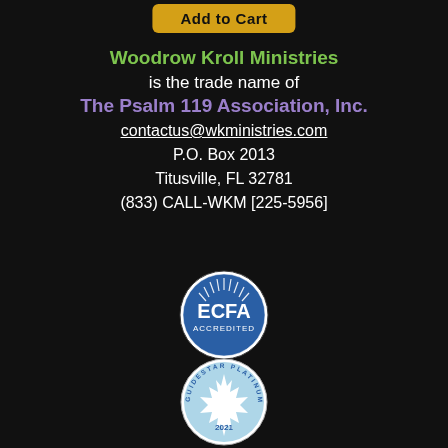[Figure (other): Yellow 'Add to Cart' button at top]
Woodrow Kroll Ministries is the trade name of The Psalm 119 Association, Inc. contactus@wkministries.com P.O. Box 2013 Titusville, FL 32781 (833) CALL-WKM [225-5956]
[Figure (logo): ECFA Accredited blue circular badge/seal]
[Figure (logo): GuideStar Platinum Transparency 2021 circular badge/seal]